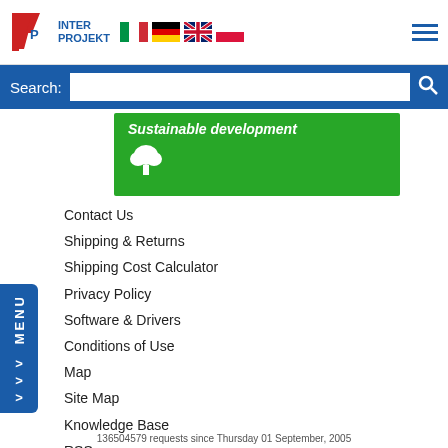[Figure (logo): Inter Projekt logo with red IP letters, Italian, German, UK, Polish flags, and hamburger menu icon]
[Figure (screenshot): Search bar with blue background, text input field and magnifying glass icon]
[Figure (illustration): Green banner with 'Sustainable development' text and white tree icon]
[Figure (other): Blue vertical MENU tab with chevron arrows on left side]
Contact Us
Shipping & Returns
Shipping Cost Calculator
Privacy Policy
Software & Drivers
Conditions of Use
Map
Site Map
Knowledge Base
RSS
[Figure (logo): Facebook logo blue rounded square with white f]
136504579 requests since Thursday 01 September, 2005